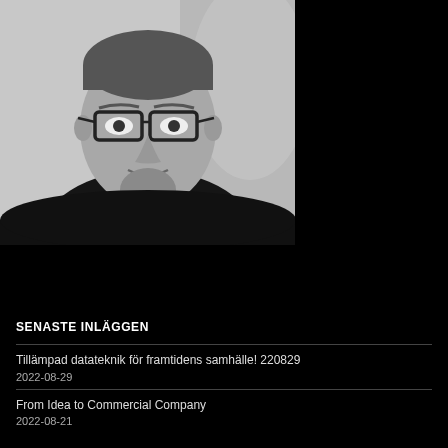[Figure (photo): Black and white professional portrait photo of a man with glasses, wearing a dark jacket, hand raised to chin in a thoughtful pose, against a light background. Photo occupies the upper-left portion of the page.]
SENASTE INLÄGGEN
Tillämpad datateknik för framtidens samhälle! 220829
2022-08-29
From Idea to Commercial Company
2022-08-21